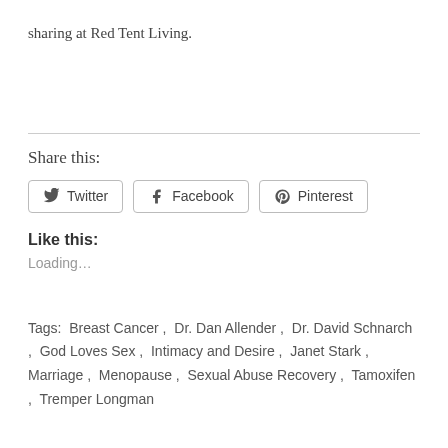sharing at Red Tent Living.
Share this:
Twitter  Facebook  Pinterest
Like this:
Loading...
Tags:  Breast Cancer ,  Dr. Dan Allender ,  Dr. David Schnarch ,  God Loves Sex ,  Intimacy and Desire ,  Janet Stark ,  Marriage ,  Menopause ,  Sexual Abuse Recovery ,  Tamoxifen ,  Tremper Longman